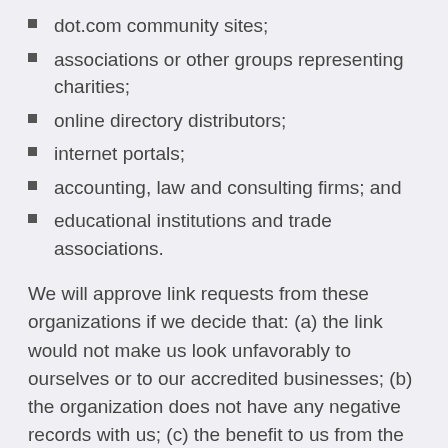dot.com community sites;
associations or other groups representing charities;
online directory distributors;
internet portals;
accounting, law and consulting firms; and
educational institutions and trade associations.
We will approve link requests from these organizations if we decide that: (a) the link would not make us look unfavorably to ourselves or to our accredited businesses; (b) the organization does not have any negative records with us; (c) the benefit to us from the visibility of the hyperlink compensates the absence of Racikan Resep; and (d) the link is in the context of general resource information.